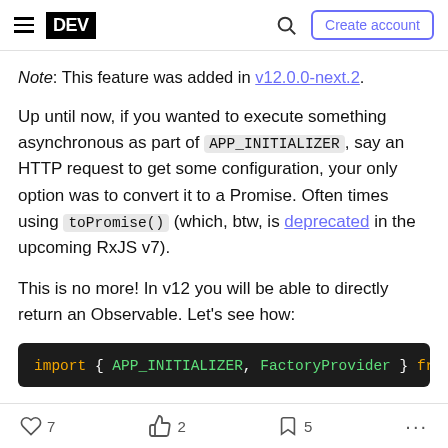DEV — hamburger menu, search, Create account
Note: This feature was added in v12.0.0-next.2.
Up until now, if you wanted to execute something asynchronous as part of APP_INITIALIZER, say an HTTP request to get some configuration, your only option was to convert it to a Promise. Often times using toPromise() (which, btw, is deprecated in the upcoming RxJS v7).
This is no more! In v12 you will be able to directly return an Observable. Let's see how:
[Figure (screenshot): Code block showing: import { APP_INITIALIZER, FactoryProvider } fro...]
7 likes, 2 reactions, 5 bookmarks, more options